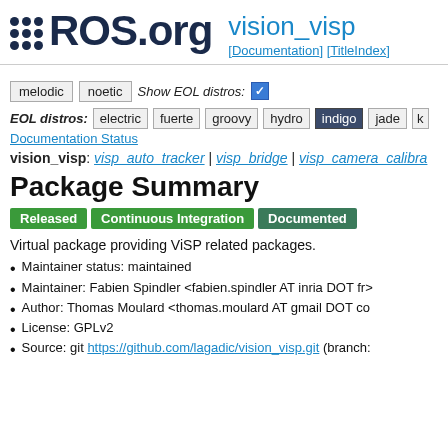ROS.org — vision_visp [Documentation] [TitleIndex]
melodic  noetic  Show EOL distros: ✓
EOL distros: electric  fuerte  groovy  hydro  indigo  jade  ...
Documentation Status
vision_visp: visp_auto_tracker | visp_bridge | visp_camera_calibra...
Package Summary
Released  Continuous Integration  Documented
Virtual package providing ViSP related packages.
Maintainer status: maintained
Maintainer: Fabien Spindler <fabien.spindler AT inria DOT fr>
Author: Thomas Moulard <thomas.moulard AT gmail DOT co...
License: GPLv2
Source: git https://github.com/lagadic/vision_visp.git (branch:...